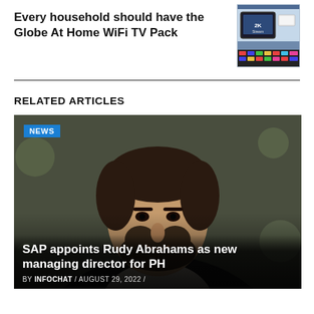Every household should have the Globe At Home WiFi TV Pack
[Figure (photo): Advertisement image for Globe At Home WiFi TV Pack showing a small TV streaming device and router]
RELATED ARTICLES
[Figure (photo): Portrait photo of Rudy Abrahams, a man in a dark suit with beard, smiling, with a NEWS badge overlay and caption 'SAP appoints Rudy Abrahams as new managing director for PH']
SAP appoints Rudy Abrahams as new managing director for PH
BY INFOCHAT / AUGUST 29, 2022 /